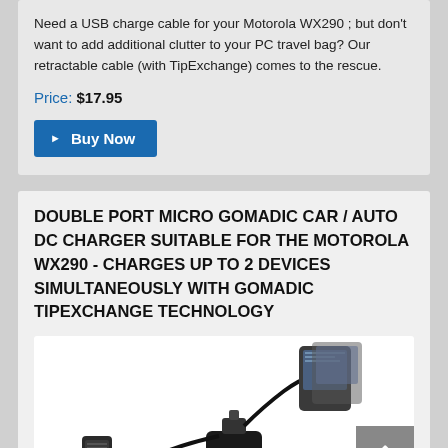Need a USB charge cable for your Motorola WX290 ; but don't want to add additional clutter to your PC travel bag? Our retractable cable (with TipExchange) comes to the rescue.
Price: $17.95
Buy Now
DOUBLE PORT MICRO GOMADIC CAR / AUTO DC CHARGER SUITABLE FOR THE MOTOROLA WX290 - CHARGES UP TO 2 DEVICES SIMULTANEOUSLY WITH GOMADIC TIPEXCHANGE TECHNOLOGY
[Figure (photo): Photo of a double port micro car charger with two cables connected to mobile devices]